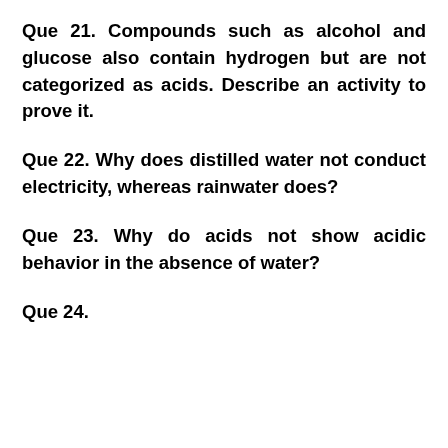Que 21. Compounds such as alcohol and glucose also contain hydrogen but are not categorized as acids. Describe an activity to prove it.
Que 22. Why does distilled water not conduct electricity, whereas rainwater does?
Que 23. Why do acids not show acidic behavior in the absence of water?
Que 24. ...